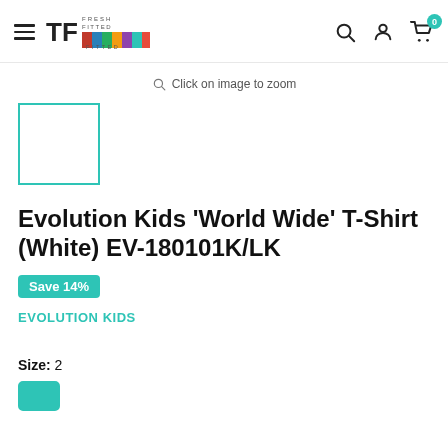Fresh Fitted store navigation header with hamburger menu, logo, search, account, and cart icons (badge: 0)
Click on image to zoom
[Figure (photo): Product thumbnail image placeholder with teal border, white interior]
Evolution Kids 'World Wide' T-Shirt (White) EV-180101K/LK
Save 14%
EVOLUTION KIDS
Size:  2